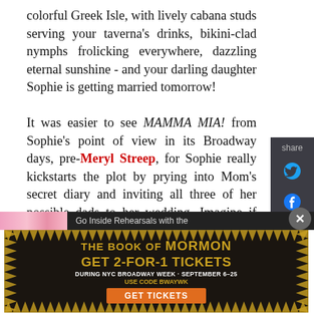colorful Greek Isle, with lively cabana studs serving your taverna's drinks, bikini-clad nymphs frolicking everywhere, dazzling eternal sunshine - and your darling daughter Sophie is getting married tomorrow!

It was easier to see MAMMA MIA! from Sophie's point of view in its Broadway days, pre-Meryl Streep, for Sophie really kickstarts the plot by prying into Mom's secret diary and inviting all three of her possible dads to her wedding. Imagine if your three exes showed up unexpectedly for your daughter's wedding. Sophie might as well have hired a skywriter to spell it all out: MOM, I READ YOUR SECRET DIARY AND INVITED ALL THREE OF MY
[Figure (screenshot): Share panel with Twitter bird and Facebook icons on dark background]
[Figure (screenshot): Advertisement for The Book of Mormon - Get 2-For-1 Tickets during NYC Broadway Week September 6-25, use code BWAYWK. Get Tickets button.]